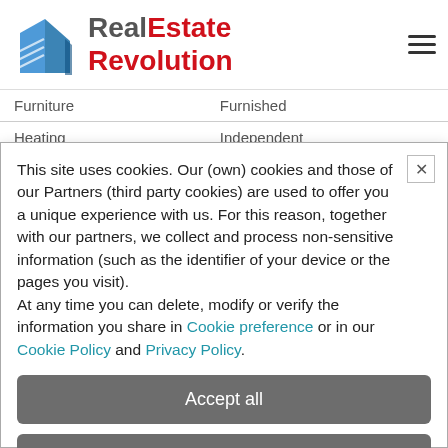[Figure (logo): RealEstate Revolution logo with building icon on the left and red/grey text on the right, plus hamburger menu icon]
| Furniture | Furnished |
| Heating | Independent |
This site uses cookies. Our (own) cookies and those of our Partners (third party cookies) are used to offer you a unique experience with us. For this reason, together with our partners, we collect and process non-sensitive information (such as the identifier of your device or the pages you visit). At any time you can delete, modify or verify the information you share in Cookie preference or in our Cookie Policy and Privacy Policy.
Accept all
Decline all
Customize